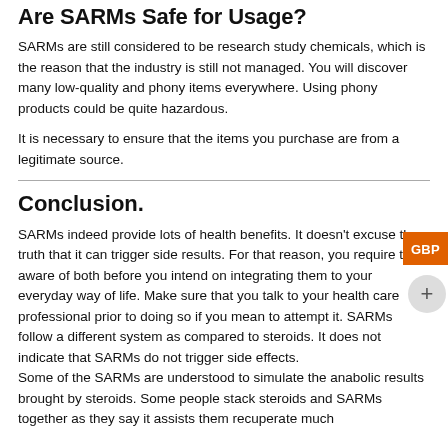Are SARMs Safe for Usage?
SARMs are still considered to be research study chemicals, which is the reason that the industry is still not managed. You will discover many low-quality and phony items everywhere. Using phony products could be quite hazardous.
It is necessary to ensure that the items you purchase are from a legitimate source.
Conclusion.
SARMs indeed provide lots of health benefits. It doesn't excuse the truth that it can trigger side results. For that reason, you require to be aware of both before you intend on integrating them to your everyday way of life. Make sure that you talk to your health care professional prior to doing so if you mean to attempt it. SARMs follow a different system as compared to steroids. It does not indicate that SARMs do not trigger side effects.
Some of the SARMs are understood to simulate the anabolic results brought by steroids. Some people stack steroids and SARMs together as they say it assists them recuperate much